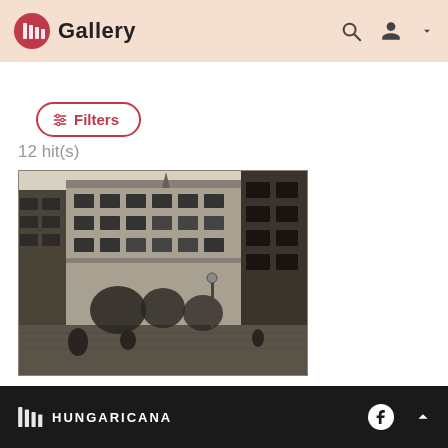Gallery
⊞ Filters
12 hit(s)
[Figure (photo): Black and white historical photograph of a large multi-story European city building with ornate facade, street scene with people and lamp posts in foreground]
[Figure (photo): Partial black and white historical photograph showing top of building facade, cropped/partially visible]
HUNGARICANA